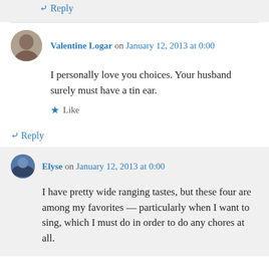↳ Reply
Valentine Logar on January 12, 2013 at 0:00
I personally love you choices. Your husband surely must have a tin ear.
★ Like
↳ Reply
Elyse on January 12, 2013 at 0:00
I have pretty wide ranging tastes, but these four are among my favorites — particularly when I want to sing, which I must do in order to do any chores at all.